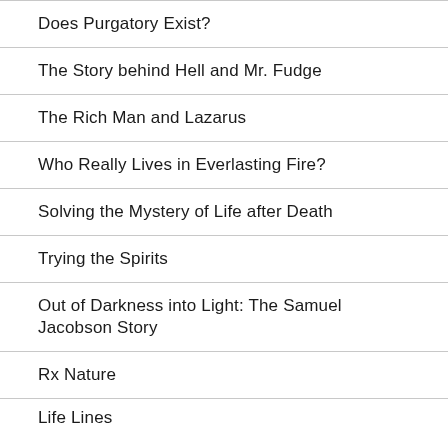Does Purgatory Exist?
The Story behind Hell and Mr. Fudge
The Rich Man and Lazarus
Who Really Lives in Everlasting Fire?
Solving the Mystery of Life after Death
Trying the Spirits
Out of Darkness into Light: The Samuel Jacobson Story
Rx Nature
Life Lines